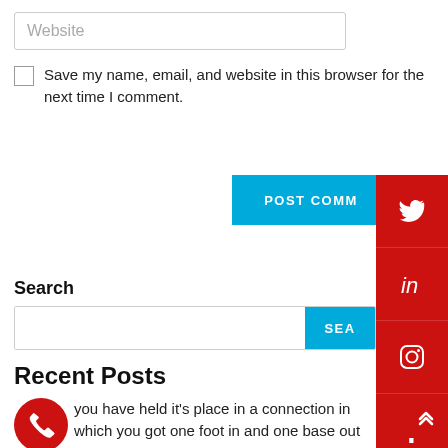Website
Save my name, email, and website in this browser for the next time I comment.
POST COMMENT
Search
SEARCH
Recent Posts
you have held it's place in a connection in which you got one foot in and one base out